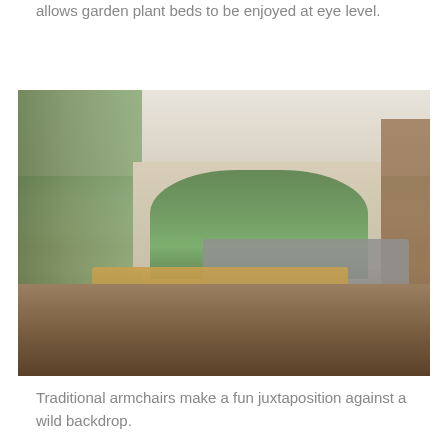allows garden plant beds to be enjoyed at eye level.
[Figure (photo): Interior living space with open glass walls revealing a lush tropical garden backdrop. In the foreground is a wooden dining table with leather chairs. The living area features yellow armchairs, a grey sofa, a glass coffee table, and on the left an outdoor patio with garden furniture. A floor-to-ceiling green plant wall is visible on the left, and large tropical plants are in the central courtyard. On the right is a wooden bookshelf unit.]
Traditional armchairs make a fun juxtaposition against a wild backdrop.